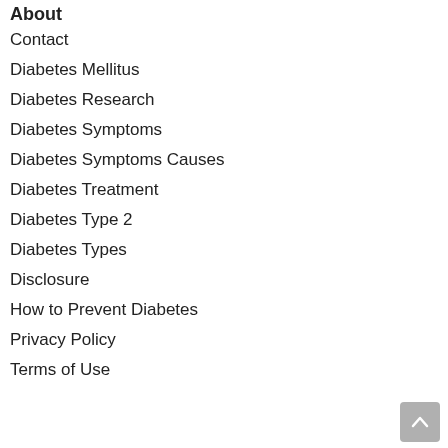About
Contact
Diabetes Mellitus
Diabetes Research
Diabetes Symptoms
Diabetes Symptoms Causes
Diabetes Treatment
Diabetes Type 2
Diabetes Types
Disclosure
How to Prevent Diabetes
Privacy Policy
Terms of Use